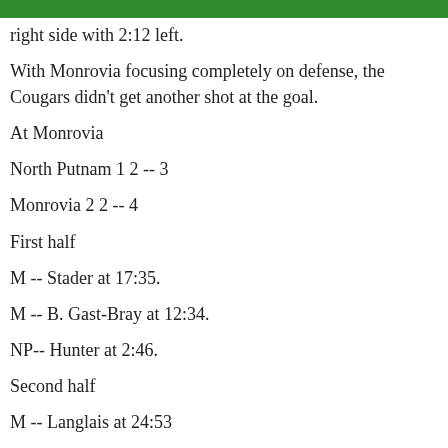right side with 2:12 left.
With Monrovia focusing completely on defense, the Cougars didn't get another shot at the goal.
At Monrovia
North Putnam 1 2 -- 3
Monrovia 2 2 -- 4
First half
M -- Stader at 17:35.
M -- B. Gast-Bray at 12:34.
NP-- Hunter at 2:46.
Second half
M -- Langlais at 24:53